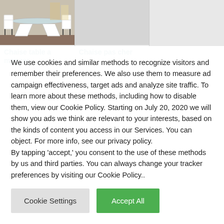[Figure (photo): Product photo of a modern white dining table with glass top and curved base, with white chairs]
Chaise table a
Chaise pas cher
We use cookies and similar methods to recognize visitors and remember their preferences. We also use them to measure ad campaign effectiveness, target ads and analyze site traffic. To learn more about these methods, including how to disable them, view our Cookie Policy. Starting on July 20, 2020 we will show you ads we think are relevant to your interests, based on the kinds of content you access in our Services. You can object. For more info, see our privacy policy.
By tapping 'accept,' you consent to the use of these methods by us and third parties. You can always change your tracker preferences by visiting our Cookie Policy..
Cookie Settings
Accept All